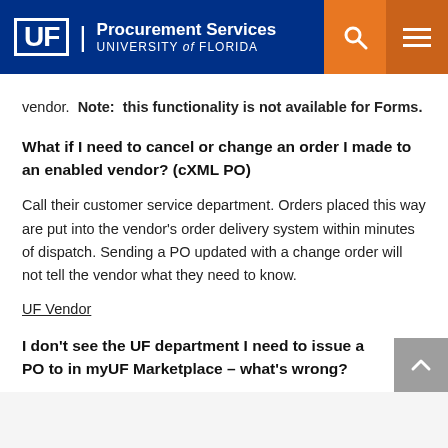UF Procurement Services – University of Florida
vendor.  Note:  this functionality is not available for Forms.
What if I need to cancel or change an order I made to an enabled vendor? (cXML PO)
Call their customer service department. Orders placed this way are put into the vendor's order delivery system within minutes of dispatch. Sending a PO updated with a change order will not tell the vendor what they need to know.
UF Vendor
I don't see the UF department I need to issue a PO to in myUF Marketplace – what's wrong?